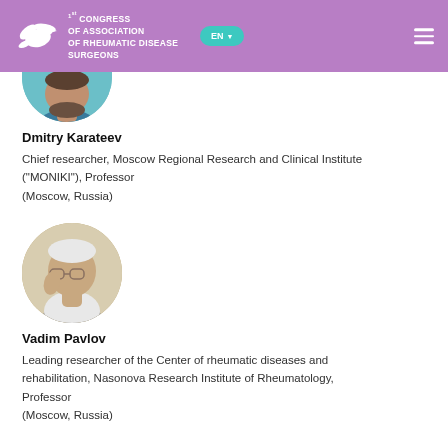1st CONGRESS OF ASSOCIATION OF RHEUMATIC DISEASE SURGEONS
[Figure (photo): Circular headshot photo of Dmitry Karateev (partially cropped at top)]
Dmitry Karateev
Chief researcher, Moscow Regional Research and Clinical Institute ("MONIKI"), Professor
(Moscow, Russia)
[Figure (photo): Circular headshot photo of Vadim Pavlov, elderly man with glasses]
Vadim Pavlov
Leading researcher of the Center of rheumatic diseases and rehabilitation, Nasonova Research Institute of Rheumatology, Professor
(Moscow, Russia)